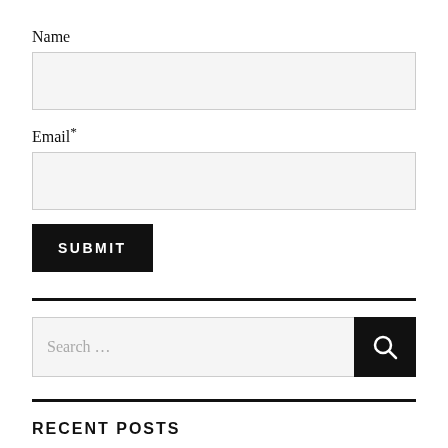Name
[Figure (other): Text input field for Name]
Email*
[Figure (other): Text input field for Email]
SUBMIT
[Figure (other): Horizontal divider line]
[Figure (other): Search bar with search icon button, placeholder text 'Search ...']
[Figure (other): Horizontal divider line]
RECENT POSTS